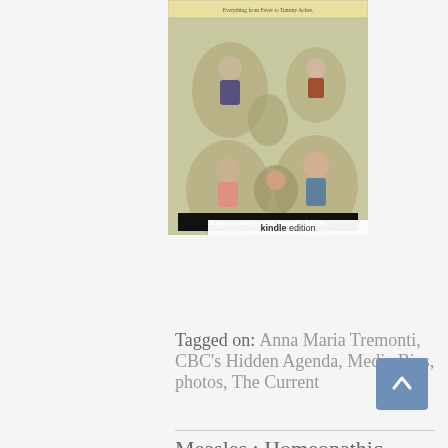[Figure (photo): Book cover for a homeopathic children's health book by Allyson McQuinn DHHP, JAOH, showing collage of children with various ailments, marked as Kindle edition]
Tagged on:   Anna Maria Tremonti,   CBC's Hidden Agenda,   Media Bias,   photos,   The Current
Measles : Homeopathic